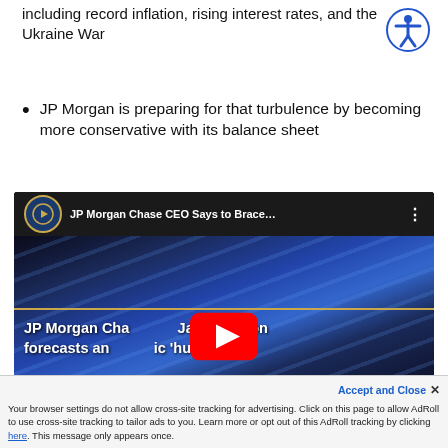including record inflation, rising interest rates, and the Ukraine War
JP Morgan is preparing for that turbulence by becoming more conservative with its balance sheet
[Figure (screenshot): YouTube video thumbnail showing JP Morgan Chase building at night with blue glass facade. Video title bar reads 'JP Morgan Chase CEO Says to Brace...' with a lion logo. Video overlay text reads 'JP Morgan Cha... Jamie Dimon forecasts an ... ic hurricane'. A red YouTube play button is centered on the thumbnail.]
Your browser settings do not allow cross-site tracking for advertising. Click on this page to allow AdRoll to use cross-site tracking to tailor ads to you. Learn more or opt out of this AdRoll tracking by clicking here. This message only appears once.